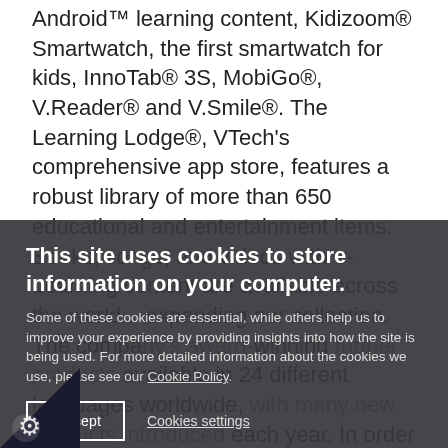Android™ learning content, Kidizoom® Smartwatch, the first smartwatch for kids, InnoTab® 3S, MobiGo®, V.Reader® and V.Smile®. The Learning Lodge®, VTech's comprehensive app store, features a robust library of more than 650 educational and entertainment items. Books, songs, and videos with e-Learning content are available across the world... expanding our collection. The company's award-winning... further products available in 24 different languages worldwide, with many new products introduced each year. In order to further strengthen
This site uses cookies to store information on your computer.
Some of these cookies are essential, while others help us to improve your experience by providing insights into how the site is being used. For more detailed information about the cookies we use, please see our Cookie Policy.
I Accept
Cookies settings